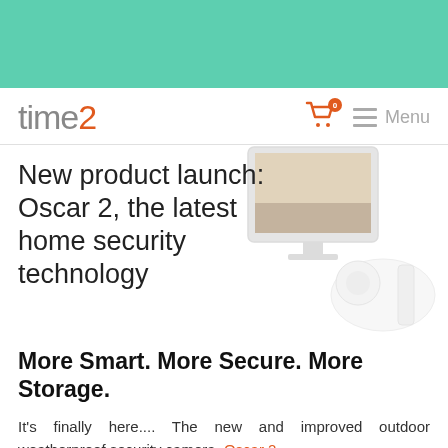[Figure (other): Teal/mint green header bar background]
time2 | Menu (navigation bar with cart icon)
[Figure (photo): Product image of Oscar 2 outdoor security camera overlaid behind the title text]
New product launch: Oscar 2, the latest home security technology
More Smart. More Secure. More Storage.
It's finally here.... The new and improved outdoor weatherproof security camera, Oscar 2.